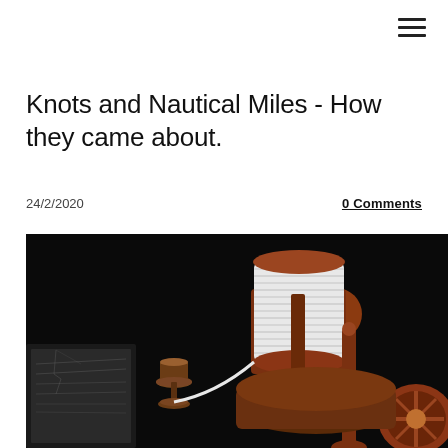☰
Knots and Nautical Miles - How they came about.
24/2/2020
0 Comments
[Figure (photo): A wooden chip log reel with white rope wound around it, a small wooden hourglass-like instrument, and a nautical chart, all on a dark background.]